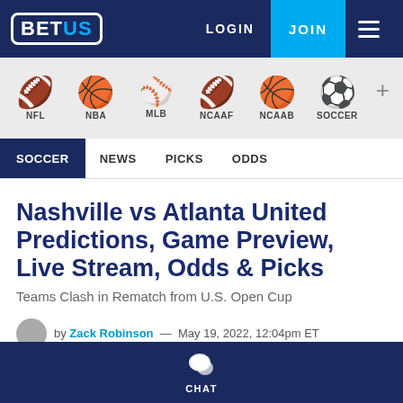BETUS — LOGIN | JOIN
[Figure (screenshot): Sports navigation icons bar with NFL (football), NBA (basketball), MLB (baseball), NCAAF (football), NCAAB (basketball), Soccer (soccer ball), and a plus icon]
SOCCER | NEWS | PICKS | ODDS
Nashville vs Atlanta United Predictions, Game Preview, Live Stream, Odds & Picks
Teams Clash in Rematch from U.S. Open Cup
by Zack Robinson — May 19, 2022, 12:04pm ET
CHAT